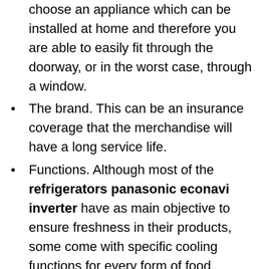choose an appliance which can be installed at home and therefore you are able to easily fit through the doorway, or in the worst case, through a window.
The brand. This can be an insurance coverage that the merchandise will have a long service life.
Functions. Although most of the refrigerators panasonic econavi inverter have as main objective to ensure freshness in their products, some come with specific cooling functions for every form of food.